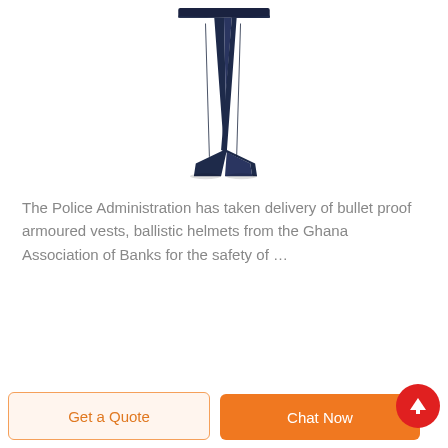[Figure (photo): Navy blue trousers/pants product image on white background]
The Police Administration has taken delivery of bullet proof armoured vests, ballistic helmets from the Ghana Association of Banks for the safety of …